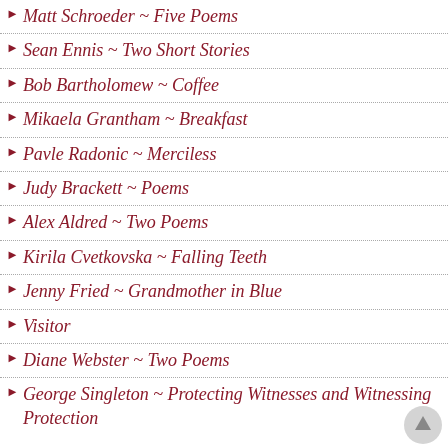Matt Schroeder ~ Five Poems
Sean Ennis ~ Two Short Stories
Bob Bartholomew ~ Coffee
Mikaela Grantham ~ Breakfast
Pavle Radonic ~ Merciless
Judy Brackett ~ Poems
Alex Aldred ~ Two Poems
Kirila Cvetkovska ~ Falling Teeth
Jenny Fried ~ Grandmother in Blue
Visitor
Diane Webster ~ Two Poems
George Singleton ~ Protecting Witnesses and Witnessing Protection